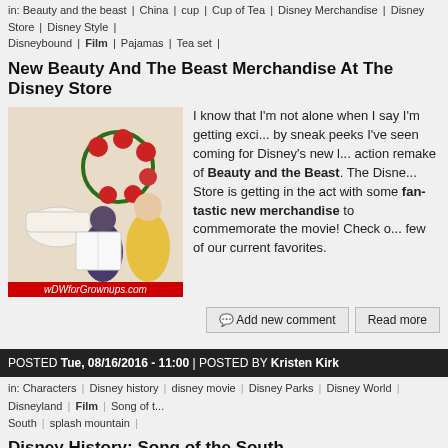in: Beauty and the beast | China | cup | Cup of Tea | Disney Merchandise | Disney Store | Disney Style | Disneybound | Film | Pajamas | Tea set |
New Beauty And The Beast Merchandise At The Disney Store
[Figure (photo): Photo of Beauty and the Beast merchandise including teacup and floral accessories with wDWforGrownups.com watermark]
I know that I'm not alone when I say I'm getting excited by sneak peeks I've seen coming for Disney's new live-action remake of Beauty and the Beast. The Disney Store is getting in the act with some fan-tastic new merchandise to commemorate the movie! Check out a few of our current favorites.
Add new comment | Read more
POSTED Tue, 08/16/2016 - 11:00 | POSTED BY Kristen Kirk
in: Characters | Disney history | disney movie | Disney Parks | Disney World | Disneyland | Film | Song of the South | splash mountain |
Disney History: Song of the South
[Figure (photo): Photo of Splash Mountain ride structure at Walt Disney World, showing rocky mountain exterior]
Despite earning a seemingly permanent home in the famed "Disney Vault" due to its reliance on racial stereotypes to tell a story, Song of the South has an enduring legacy in Walt Disney World, even if many